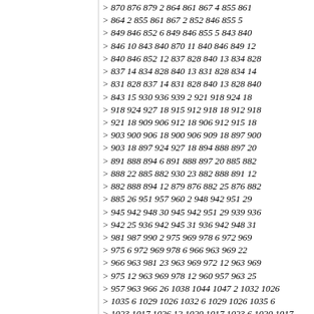> 870 876 879 2 864 861 867 4 855 861
> 864 2 855 861 867 2 852 846 855 5
> 849 846 852 6 849 846 855 5 843 840
> 846 10 843 840 870 11 840 846 849 12
> 840 846 852 12 837 828 840 13 834 828
> 837 14 834 828 840 13 831 828 834 14
> 831 828 837 14 831 828 840 13 828 840
> 843 15 930 936 939 2 921 918 924 18
> 918 924 927 18 915 912 918 18 912 918
> 921 18 909 906 912 18 906 912 915 18
> 903 900 906 18 900 906 909 18 897 900
> 903 18 897 924 927 18 894 888 897 20
> 891 888 894 6 891 888 897 20 885 882
> 888 22 885 882 930 23 882 888 891 12
> 882 888 894 12 879 876 882 25 876 882
> 885 26 951 957 960 2 948 942 951 29
> 945 942 948 30 945 942 951 29 939 936
> 942 25 936 942 945 31 936 942 948 31
> 981 987 990 2 975 969 978 6 972 969
> 975 6 972 969 978 6 966 963 969 22
> 966 963 981 23 963 969 972 12 963 969
> 975 12 963 969 978 12 960 957 963 25
> 957 963 966 26 1038 1044 1047 2 1032 1026
> 1035 6 1029 1026 1032 6 1029 1026 1035 6
> 1023 1017 1026 12 1020 1017 1023 6 1020 1017
> 1026 12 1017 1026 1029 12 1017 1026 1032 12
> 1017 1026 1035 12 1011 1005 1014 6 1008 1005
> 1011 6 1008 1005 1014 6 1002 999 1005 12